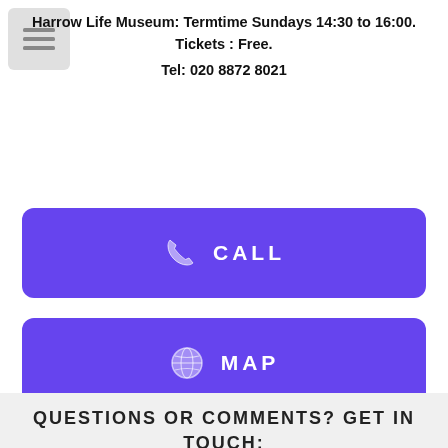Harrow Life Museum: Termtime Sundays 14:30 to 16:00. Tickets : Free. Tel: 020 8872 8021
[Figure (screenshot): Purple CALL button with phone icon]
[Figure (screenshot): Purple MAP button with globe icon]
QUESTIONS OR COMMENTS? GET IN TOUCH: